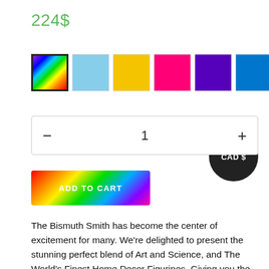224$
[Figure (other): Color swatch selector with 8 colored squares: rainbow gradient (selected/outlined), light blue, yellow, hot pink, purple, blue, green, salmon/peach]
[Figure (other): Dark circular badge with white text reading 'CAD $']
[Figure (other): Quantity selector control with minus button, number 1 in center, plus button, inside a light gray bordered rectangle]
[Figure (other): Rainbow gradient 'ADD TO CART' button]
The Bismuth Smith has become the center of excitement for many. We're delighted to present the stunning perfect blend of Art and Science, and The World's Finest Home Decor Figurines. Giving you the thrilling ability to choose an